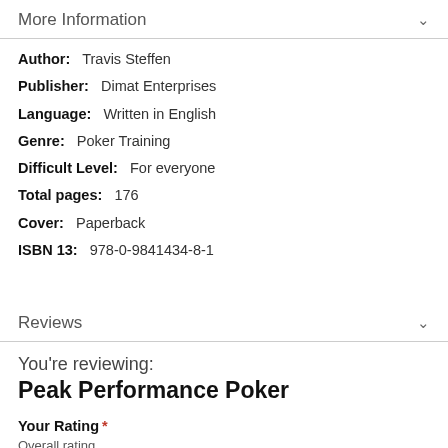More Information
Author:  Travis Steffen
Publisher:  Dimat Enterprises
Language:  Written in English
Genre:  Poker Training
Difficult Level:  For everyone
Total pages:  176
Cover:  Paperback
ISBN 13:  978-0-9841434-8-1
Reviews
You're reviewing:
Peak Performance Poker
Your Rating *
Overall rating